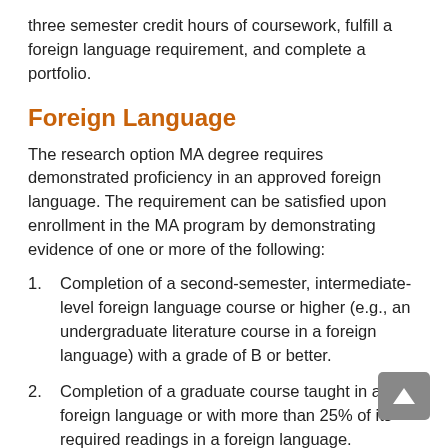three semester credit hours of coursework, fulfill a foreign language requirement, and complete a portfolio.
Foreign Language
The research option MA degree requires demonstrated proficiency in an approved foreign language. The requirement can be satisfied upon enrollment in the MA program by demonstrating evidence of one or more of the following:
Completion of a second-semester, intermediate-level foreign language course or higher (e.g., an undergraduate literature course in a foreign language) with a grade of B or better.
Completion of a graduate course taught in a foreign language or with more than 25% of its required readings in a foreign language.
An undergraduate major, graduate degree, or certificate in a foreign language.